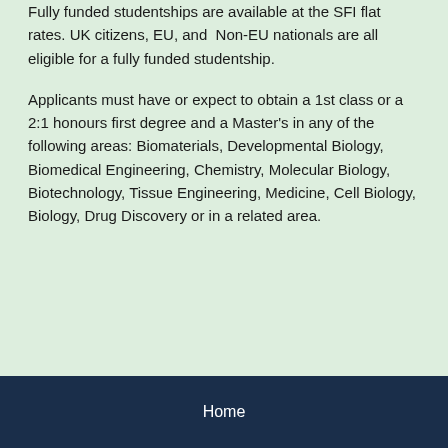Fully funded studentships are available at the SFI flat rates. UK citizens, EU, and Non-EU nationals are all eligible for a fully funded studentship.
Applicants must have or expect to obtain a 1st class or a 2:1 honours first degree and a Master's in any of the following areas: Biomaterials, Developmental Biology, Biomedical Engineering, Chemistry, Molecular Biology, Biotechnology, Tissue Engineering, Medicine, Cell Biology, Biology, Drug Discovery or in a related area.
Home